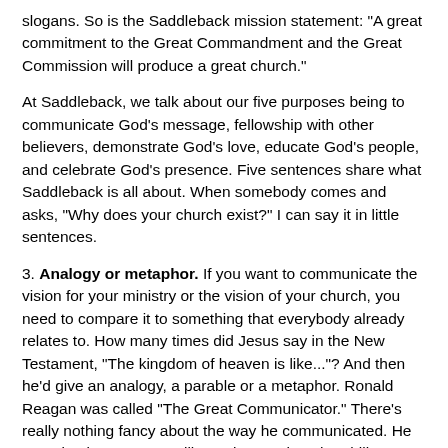slogans. So is the Saddleback mission statement: "A great commitment to the Great Commandment and the Great Commission will produce a great church."
At Saddleback, we talk about our five purposes being to communicate God's message, fellowship with other believers, demonstrate God's love, educate God's people, and celebrate God's presence. Five sentences share what Saddleback is all about. When somebody comes and asks, "Why does your church exist?" I can say it in little sentences.
3. Analogy or metaphor. If you want to communicate the vision for your ministry or the vision of your church, you need to compare it to something that everybody already relates to. How many times did Jesus say in the New Testament, "The kingdom of heaven is like..."? And then he'd give an analogy, a parable or a metaphor. Ronald Reagan was called "The Great Communicator." There's really nothing fancy about the way he communicated. He was simply a master at illustration. He has the ability to take big complex things – talking about the budget deficit so he has a pile of bills on his desk – and he says, "One trillion dollars is a pile as tall as the Empire State building." He used that illustration in his very first budget